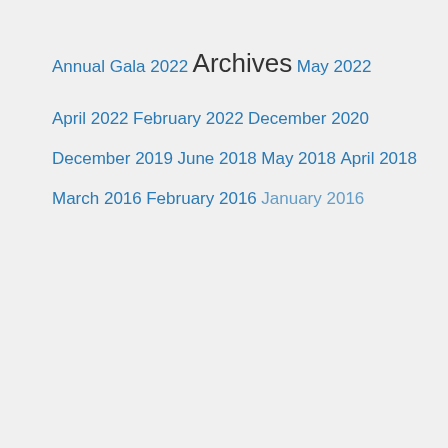Annual Gala 2022
Archives
May 2022
April 2022
February 2022
December 2020
December 2019
June 2018
May 2018
April 2018
March 2016
February 2016
January 2016